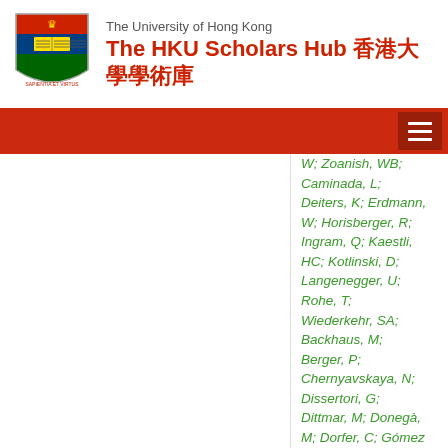The University of Hong Kong — The HKU Scholars Hub 香港大學學術庫
W; Zoanish, WB; Caminada, L; Deiters, K; Erdmann, W; Horisberger, R; Ingram, Q; Kaestli, HC; Kotlinski, D; Langenegger, U; Rohe, T; Wiederkehr, SA; Backhaus, M; Berger, P; Chernyavskaya, N; Dissertori, G; Dittmar, M; Donegà, M; Dorfer, C; Gómez Espinosa, TA; Grab, C; Hits, D; Klijnsma, T; Lustermann, W;